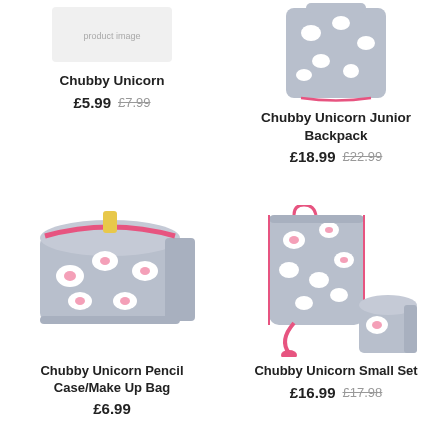[Figure (photo): Chubby Unicorn product - top left, partial view]
Chubby Unicorn
£5.99 £7.99
[Figure (photo): Chubby Unicorn Junior Backpack - gray with pink unicorn print and pink drawstring]
Chubby Unicorn Junior Backpack
£18.99 £22.99
[Figure (photo): Chubby Unicorn Pencil Case/Make Up Bag - gray rectangular bag with pink zipper and unicorn print]
Chubby Unicorn Pencil Case/Make Up Bag
£6.99
[Figure (photo): Chubby Unicorn Small Set - drawstring bag and small cube pouch, gray with unicorn print]
Chubby Unicorn Small Set
£16.99 £17.98